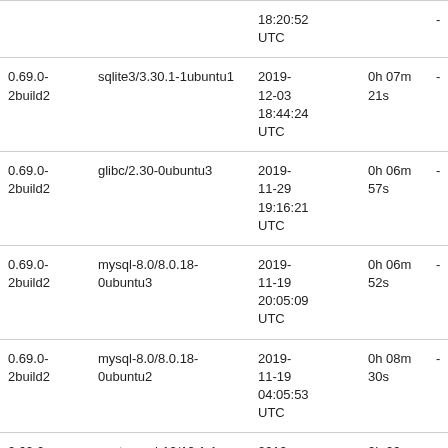|  |  | 18:20:52 UTC |  | - |
| 0.69.0-2build2 | sqlite3/3.30.1-1ubuntu1 | 2019-12-03 18:44:24 UTC | 0h 07m 21s | - |
| 0.69.0-2build2 | glibc/2.30-0ubuntu3 | 2019-11-29 19:16:21 UTC | 0h 06m 57s | - |
| 0.69.0-2build2 | mysql-8.0/8.0.18-0ubuntu3 | 2019-11-19 20:05:09 UTC | 0h 06m 52s | - |
| 0.69.0-2build2 | mysql-8.0/8.0.18-0ubuntu2 | 2019-11-19 04:05:53 UTC | 0h 08m 30s | - |
| 0.69.0- | postgresql-12/12.1-1 | 2019- | 0h 09m | - |